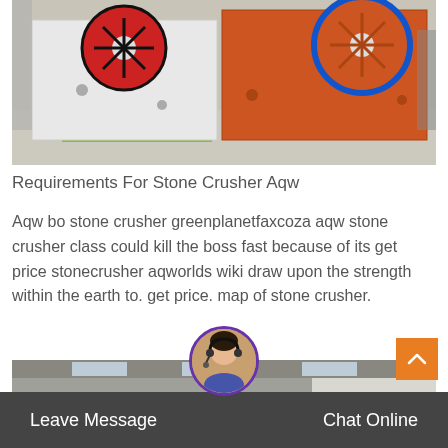[Figure (photo): Two industrial jaw crushers in a factory – one white with red flywheel, one orange with blue flywheel]
Requirements For Stone Crusher Aqw
Aqw bo stone crusher greenplanetfaxcoza aqw stone crusher class could kill the boss fast because of its get price stonecrusher aqworlds wiki draw upon the strength within the earth to. get price. map of stone crusher.
[Figure (photo): Industrial stone crusher machinery with large flywheels in a factory interior]
Leave Message    Chat Online